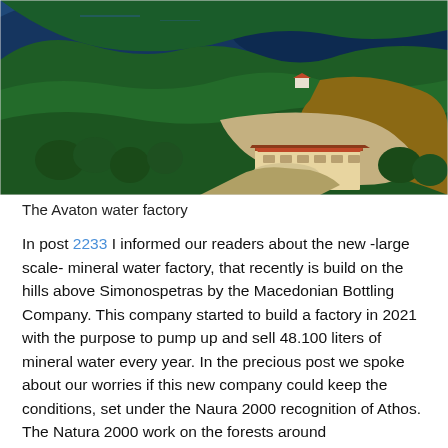[Figure (photo): Aerial photograph of the Avaton water factory, a large industrial building with a red/orange roof set into a hillside above a coastal area with dense forest and blue sea visible in the background.]
The Avaton water factory
In post 2233 I informed our readers about the new -large scale- mineral water factory, that recently is build on the hills above Simonospetras by the Macedonian Bottling Company. This company started to build a factory in 2021 with the purpose to pump up and sell 48.100 liters of mineral water every year. In the precious post we spoke about our worries if this new company could keep the conditions, set under the Naura 2000 recognition of Athos. The Natura 2000 work on the forests around